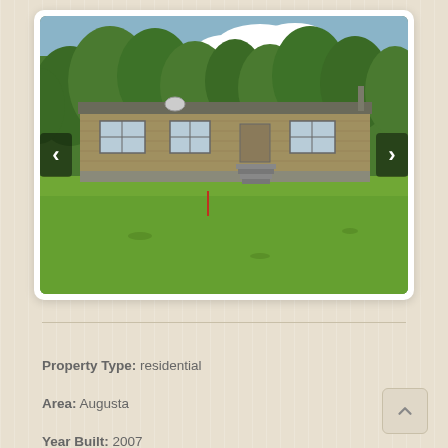[Figure (photo): Exterior photo of a single-story doublewide manufactured home with brown/tan siding, multiple windows, front entry stairs, surrounded by green lawn and mature trees in background. Navigation arrows on left and right sides of the image.]
Property Type: residential
Area: Augusta
Year Built: 2007
Design: Doublewide
Roof: Shingle